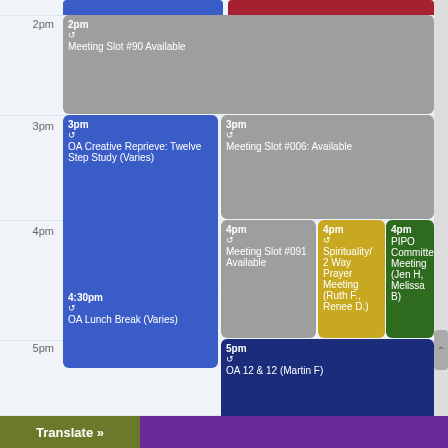[Figure (other): Calendar schedule view showing time slots from 2pm to 5pm with various meeting events including Meeting Slot #90 Available (gray, 2pm), OA Creative Reprieve: Twelve Step Study Varies (blue, 3pm), Meeting Slot #006: Available (gray, 3pm), Meeting Slot #091 Available (gray, 4pm), Spirituality/2 Way Prayer Meeting Ruth F., Renee D. (gold, 4pm), PIPO Committee Meeting Jen H, Melissa B (dark green, 4pm), OA Lunch Break Varies (blue, 4:30pm), OA 12 & 12 Martin F (dark blue, 5pm), Translate button and purple bar at bottom]
Translate »